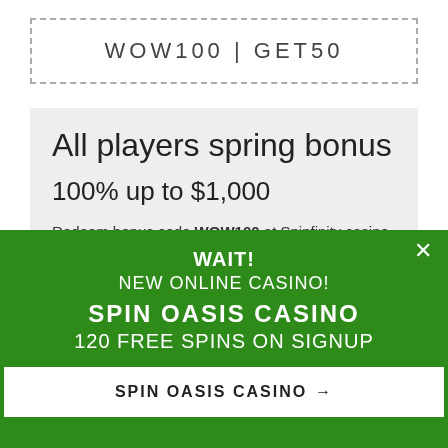WOW100 | GET50
All players spring bonus
100% up to $1,000
Redeem bonus code WOW100 at Spinfinity casino or any sister brand and double your deposit to get up to $1,000
WAIT!
NEW ONLINE CASINO!
SPIN OASIS CASINO
120 FREE SPINS ON SIGNUP
SPIN OASIS CASINO →